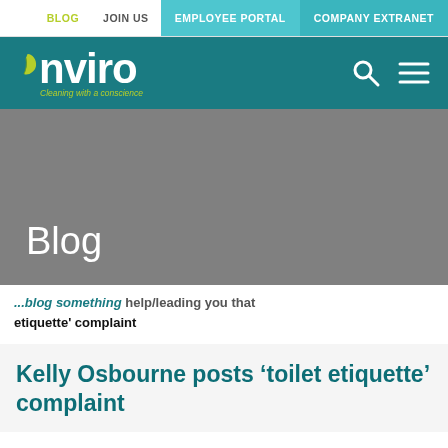BLOG  JOIN US  EMPLOYEE PORTAL  COMPANY EXTRANET
[Figure (logo): Nviro logo with green leaf and tagline 'Cleaning with a conscience' on teal background, with search and menu icons]
Blog
...Blog Something   help/leading you that toilet etiquette' complaint
Kelly Osbourne posts 'toilet etiquette' complaint